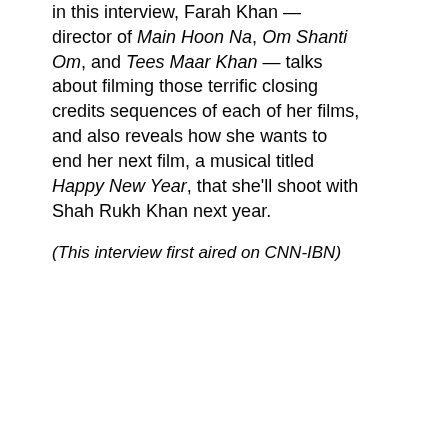In this interview, Farah Khan — director of Main Hoon Na, Om Shanti Om, and Tees Maar Khan — talks about filming those terrific closing credits sequences of each of her films, and also reveals how she wants to end her next film, a musical titled Happy New Year, that she'll shoot with Shah Rukh Khan next year.
(This interview first aired on CNN-IBN)